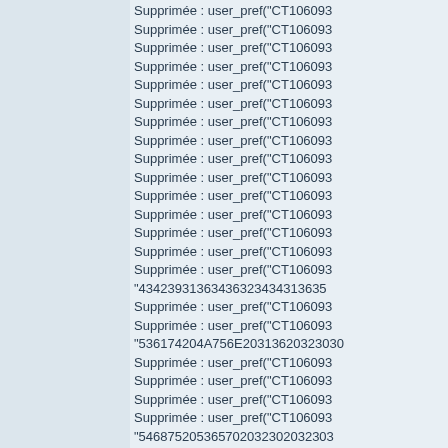Supprimée : user_pref("CT1060933...
Supprimée : user_pref("CT1060933...
Supprimée : user_pref("CT1060933...
Supprimée : user_pref("CT1060933...
Supprimée : user_pref("CT1060933...
Supprimée : user_pref("CT1060933...
Supprimée : user_pref("CT1060933...
Supprimée : user_pref("CT1060933...
Supprimée : user_pref("CT1060933...
Supprimée : user_pref("CT1060933...
Supprimée : user_pref("CT1060933...
Supprimée : user_pref("CT1060933...
Supprimée : user_pref("CT1060933...
Supprimée : user_pref("CT1060933...
Supprimée : user_pref("CT1060933...
"434239313634363234343136353...
Supprimée : user_pref("CT1060933...
Supprimée : user_pref("CT1060933...
"536174204A756E2031362032303...
Supprimée : user_pref("CT1060933...
Supprimée : user_pref("CT1060933...
Supprimée : user_pref("CT1060933...
Supprimée : user_pref("CT1060933...
"546875205365702032302032303...
Supprimée : user_pref("CT1060933...